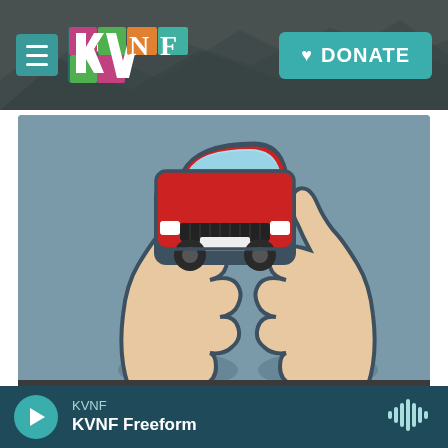[Figure (screenshot): KVNF radio station website screenshot showing navigation bar with hamburger menu, KVNF colorful logo, and teal DONATE button with heart icon over a dark rocky background]
[Figure (illustration): Illustration of two hands holding up a red car, shown on a blue-grey background. Donate Your Car campaign image for KVNF radio station.]
DONATE YOUR CAR!
KVNF  KVNF Freeform